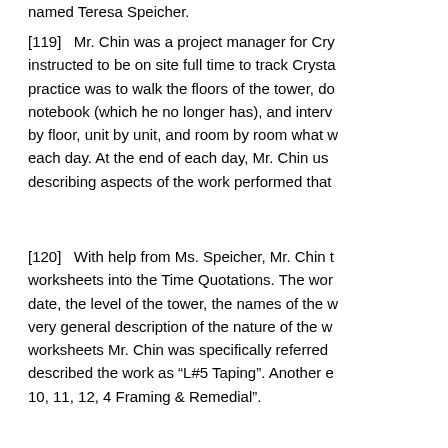named Teresa Speicher.
[119]   Mr. Chin was a project manager for Cry instructed to be on site full time to track Crysta practice was to walk the floors of the tower, do notebook (which he no longer has), and interv by floor, unit by unit, and room by room what w each day. At the end of each day, Mr. Chin us describing aspects of the work performed that
[120]   With help from Ms. Speicher, Mr. Chin worksheets into the Time Quotations. The wor date, the level of the tower, the names of the w very general description of the nature of the w worksheets Mr. Chin was specifically referred described the work as “L#5 Taping”. Another e 10, 11, 12, 4 Framing & Remedial”.